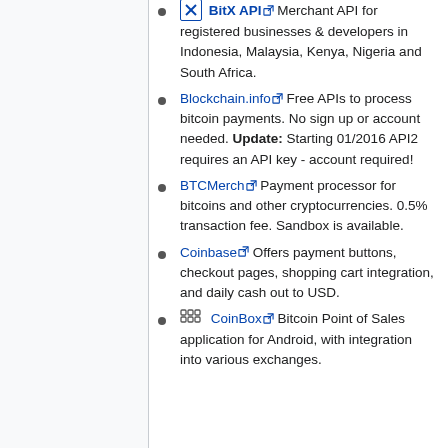BitX API Merchant API for registered businesses & developers in Indonesia, Malaysia, Kenya, Nigeria and South Africa.
Blockchain.info Free APIs to process bitcoin payments. No sign up or account needed. Update: Starting 01/2016 API2 requires an API key - account required!
BTCMerch Payment processor for bitcoins and other cryptocurrencies. 0.5% transaction fee. Sandbox is available.
Coinbase Offers payment buttons, checkout pages, shopping cart integration, and daily cash out to USD.
CoinBox Bitcoin Point of Sales application for Android, with integration into various exchanges.